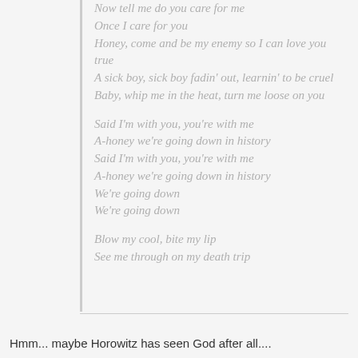Now tell me do you care for me
Once I care for you
Honey, come and be my enemy so I can love you true
A sick boy, sick boy fadin' out, learnin' to be cruel
Baby, whip me in the heat, turn me loose on you

Said I'm with you, you're with me
A-honey we're going down in history
Said I'm with you, you're with me
A-honey we're going down in history
We're going down
We're going down

Blow my cool, bite my lip
See me through on my death trip
Hmm... maybe Horowitz has seen God after all....